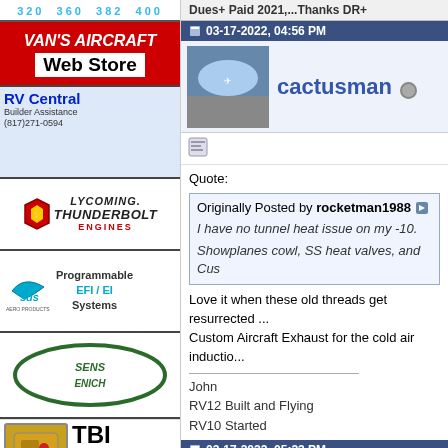[Figure (screenshot): Forum page with sidebar ads and forum posts. Sidebar contains: RV aircraft model numbers, Van's Aircraft Web Store ad, RV Central ad, Lycoming Thunderbolt Engines ad, SDS Aero Products EFI/EI Systems ad, Sensenich propeller ad, TBI carburetor ad. Main content shows two forum posts from cactusman (03-17-2022 04:56 PM) and rocketman1988 (03-17-2022 05:23 PM).]
Dues+ Paid 2021,...Thanks DR+
03-17-2022, 04:56 PM
cactusman
Quote: Originally Posted by rocketman1988 I have no tunnel heat issue on my -10. Showplanes cowl, SS heat valves, and Cus...
Love it when these old threads get resurrected Custom Aircraft Exhaust for the cold air inductio...
John
RV12 Built and Flying
RV10 Started
03-17-2022, 05:23 PM
rocketman1988